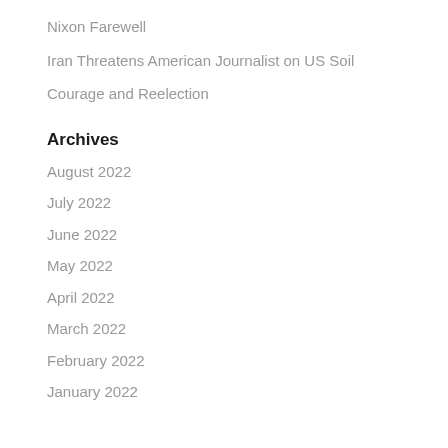Nixon Farewell
Iran Threatens American Journalist on US Soil
Courage and Reelection
Archives
August 2022
July 2022
June 2022
May 2022
April 2022
March 2022
February 2022
January 2022